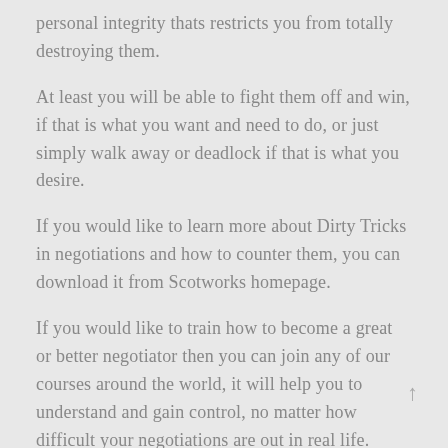personal integrity thats restricts you from totally destroying them.
At least you will be able to fight them off and win, if that is what you want and need to do, or just simply walk away or deadlock if that is what you desire.
If you would like to learn more about Dirty Tricks in negotiations and how to counter them, you can download it from Scotworks homepage.
If you would like to train how to become a great or better negotiator then you can join any of our courses around the world, it will help you to understand and gain control, no matter how difficult your negotiations are out in real life.
Christopher Blomquist
Senior Consultant BellBlomquist Consulting.